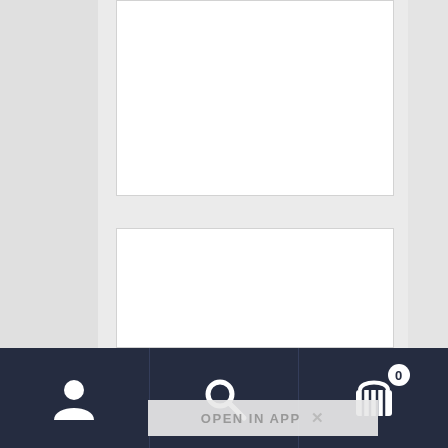[Figure (screenshot): Mobile e-commerce app screenshot showing product listing cards (empty white placeholders), a 'Back to top' button with upward arrow, an 'OPEN IN APP' banner overlay, and a dark bottom navigation bar with user account, search, and shopping cart (0 items) icons.]
Back to top
OPEN IN APP
Bottom navigation bar with account, search, and cart (0) icons